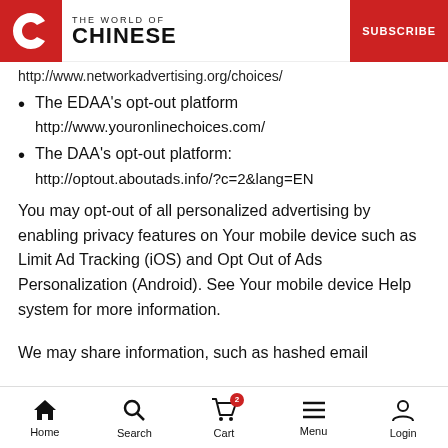THE WORLD OF CHINESE | SUBSCRIBE
http://www.networkadvertising.org/choices/
The EDAA's opt-out platform
http://www.youronlinechoices.com/
The DAA's opt-out platform:
http://optout.aboutads.info/?c=2&lang=EN
You may opt-out of all personalized advertising by enabling privacy features on Your mobile device such as Limit Ad Tracking (iOS) and Opt Out of Ads Personalization (Android). See Your mobile device Help system for more information.
We may share information, such as hashed email
Home | Search | Cart | Menu | Login